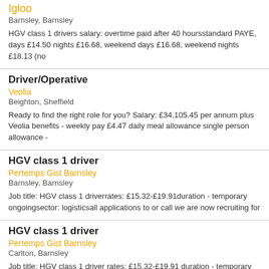Igloo
Barnsley, Barnsley
HGV class 1 drivers salary: overtime paid after 40 hoursstandard PAYE, days £14.50 nights £16.68, weekend days £16.68, weekend nights £18.13 (no
Driver/Operative
Veolia
Beighton, Sheffield
Ready to find the right role for you? Salary: £34,105.45 per annum plus Veolia benefits - weekly pay £4.47 daily meal allowance single person allowance -
HGV class 1 driver
Pertemps Gist Barnsley
Barnsley, Barnsley
Job title: HGV class 1 driverrates: £15.32-£19.91duration - temporary ongoingsector: logisticsall applications to or call we are now recruiting for
HGV class 1 driver
Pertemps Gist Barnsley
Carlton, Barnsley
Job title: HGV class 1 driver rates: £15.32-£19.91 duration - temporary ongoing sector: logistics all applications to (URL removed) or call (phone number